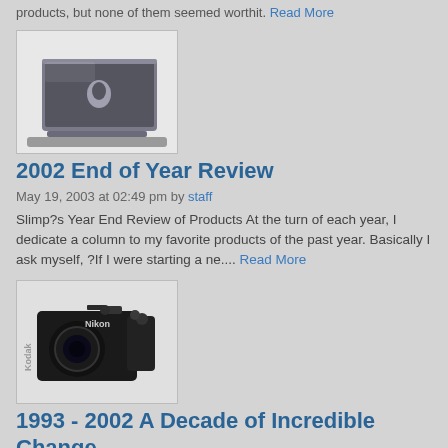products, but none of them seemed worthit. Read More
[Figure (photo): Apple MacBook laptop computer, silver, viewed from rear-left angle showing Apple logo]
2002 End of Year Review
May 19, 2003 at 02:49 pm by staff
Slimp?s Year End Review of Products At the turn of each year, I dedicate a column to my favorite products of the past year. Basically I ask myself, ?If I were starting a ne.... Read More
[Figure (photo): Nikon/Kodak professional DSLR camera, black, shown from front-left angle with lens visible]
1993 - 2002 A Decade of Incredible Change